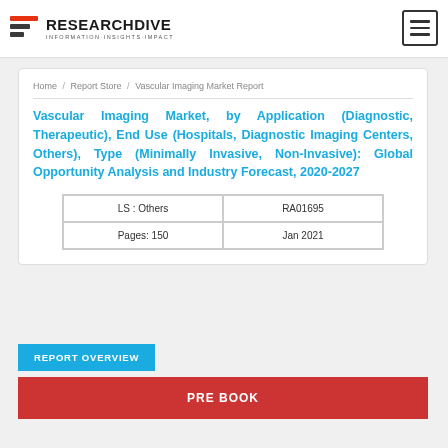RESEARCHDIVE INFORMATION-INSIGHTS-IMPACT
Home / Report Store / Vascular Imaging Market Report
Vascular Imaging Market, by Application (Diagnostic, Therapeutic), End Use (Hospitals, Diagnostic Imaging Centers, Others), Type (Minimally Invasive, Non-Invasive): Global Opportunity Analysis and Industry Forecast, 2020-2027
| LS : Others | RA01695 |
| Pages: 150 | Jan 2021 |
REPORT OVERVIEW
PRE BOOK